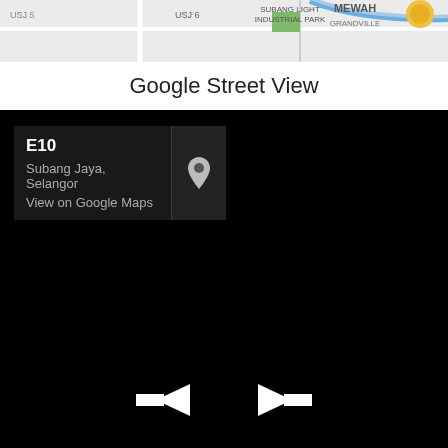[Figure (map): Google Maps strip showing USJ 6, Subang Light Industrial Park, Mewah, Grandville area in Subang Jaya, Selangor]
Google Street View
[Figure (screenshot): Google Street View screenshot showing a dark/black street view image of E10, Subang Jaya, Selangor with a View on Google Maps overlay panel and navigation arrows at the bottom]